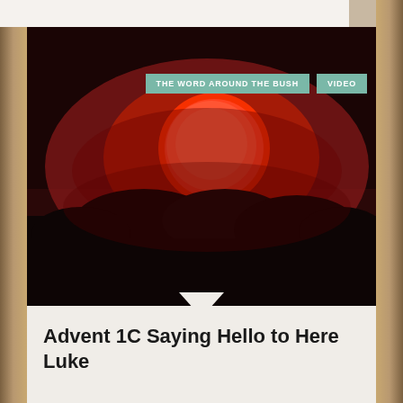[Figure (photo): A dramatic photograph of a large bright red/orange sun or moon against a deep dark red smoky sky, with dark silhouetted trees or bushes at the bottom. Two teal/green tag buttons overlay the top right: 'THE WORD AROUND THE BUSH' and 'VIDEO'.]
Advent 1C Saying Hello to Here Luke